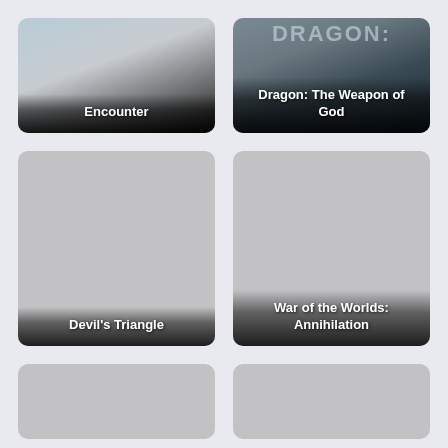[Figure (illustration): Movie poster thumbnail for 'Encounter' with blueish foggy background, dark gradient at bottom with white title text]
[Figure (illustration): Movie poster thumbnail for 'Dragon: The Weapon of God' with dark background and large 'DRAGON:' text visible, white title overlay at bottom]
[Figure (illustration): Movie poster thumbnail for 'Devil's Triangle' with plain gray background and dark gradient at bottom with white title text]
[Figure (illustration): Movie poster thumbnail for 'War of the Worlds: Annihilation' with plain gray background and dark gradient at bottom with white title text]
[Figure (illustration): Partially visible movie poster thumbnail at bottom left, plain gray background, cropped]
[Figure (illustration): Partially visible movie poster thumbnail at bottom right, plain gray background, cropped]